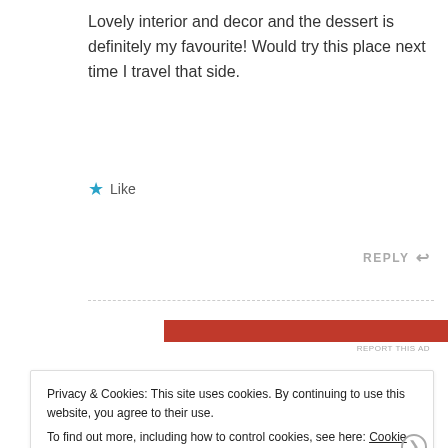Lovely interior and decor and the dessert is definitely my favourite! Would try this place next time I travel that side.
★ Like
REPLY ↩
[Figure (other): Ad banner with red background and partial image]
REPORT THIS AD
Privacy & Cookies: This site uses cookies. By continuing to use this website, you agree to their use.
To find out more, including how to control cookies, see here: Cookie Policy
Close and accept